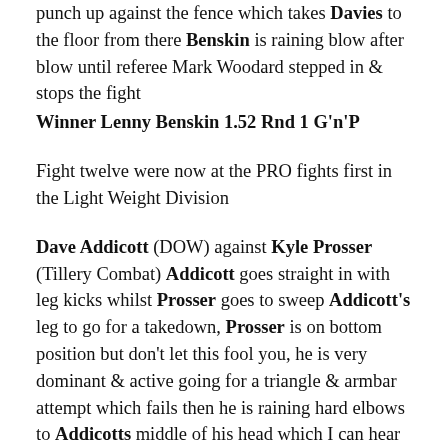punch up against the fence which takes Davies to the floor from there Benskin is raining blow after blow until referee Mark Woodard stepped in & stops the fight
Winner Lenny Benskin 1.52 Rnd 1 G'n'P
Fight twelve were now at the PRO fights first in the Light Weight Division
Dave Addicott (DOW) against Kyle Prosser (Tillery Combat) Addicott goes straight in with leg kicks whilst Prosser goes to sweep Addicott's leg to go for a takedown, Prosser is on bottom position but don't let this fool you, he is very dominant & active going for a triangle & armbar attempt which fails then he is raining hard elbows to Addicotts middle of his head which I can hear from where I am sat, Prosser goes for another